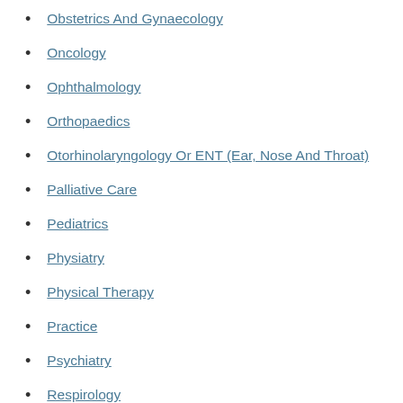Obstetrics And Gynaecology
Oncology
Ophthalmology
Orthopaedics
Otorhinolaryngology Or ENT (Ear, Nose And Throat)
Palliative Care
Pediatrics
Physiatry
Physical Therapy
Practice
Psychiatry
Respirology
Rheumatology
Sport Medicine
Surgery
Teaching
Technology
Travel Medicine
Urology